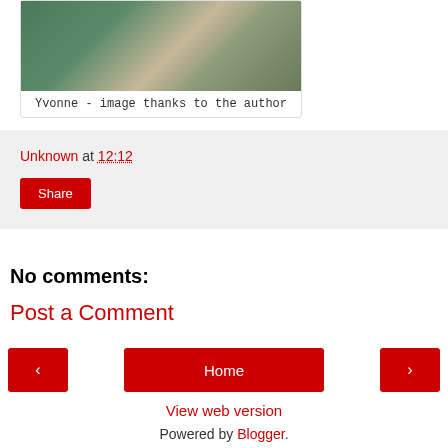[Figure (photo): Photo of Yvonne - person wearing green sweater]
Yvonne - image thanks to the author
Unknown at 12:12
Share
No comments:
Post a Comment
‹ Home ›
View web version
Powered by Blogger.